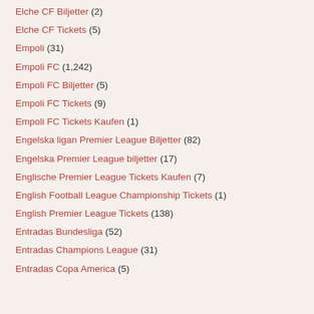Elche CF Biljetter (2)
Elche CF Tickets (5)
Empoli (31)
Empoli FC (1,242)
Empoli FC Biljetter (5)
Empoli FC Tickets (9)
Empoli FC Tickets Kaufen (1)
Engelska ligan Premier League Biljetter (82)
Engelska Premier League biljetter (17)
Englische Premier League Tickets Kaufen (7)
English Football League Championship Tickets (1)
English Premier League Tickets (138)
Entradas Bundesliga (52)
Entradas Champions League (31)
Entradas Copa America (5)